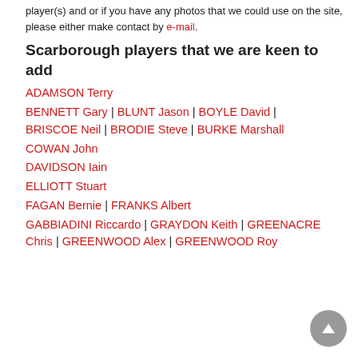player(s) and or if you have any photos that we could use on the site, please either make contact by e-mail.
Scarborough players that we are keen to add
ADAMSON Terry
BENNETT Gary | BLUNT Jason | BOYLE David | BRISCOE Neil | BRODIE Steve | BURKE Marshall
COWAN John
DAVIDSON Iain
ELLIOTT Stuart
FAGAN Bernie | FRANKS Albert
GABBIADINI Riccardo | GRAYDON Keith | GREENACRE Chris | GREENWOOD Alex | GREENWOOD Roy